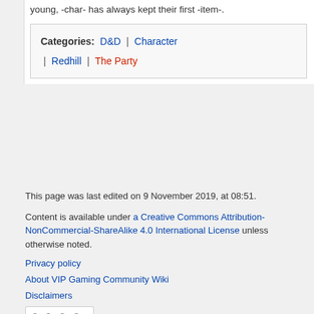young, -char- has always kept their first -item-.
Categories: D&D | Character | Redhill | The Party
This page was last edited on 9 November 2019, at 08:51.
Content is available under a Creative Commons Attribution-NonCommercial-ShareAlike 4.0 International License unless otherwise noted.
Privacy policy
About VIP Gaming Community Wiki
Disclaimers
[Figure (logo): Creative Commons BY-NC-SA license badge]
[Figure (logo): Powered by MediaWiki badge]
[Figure (logo): Powered by Debian badge]